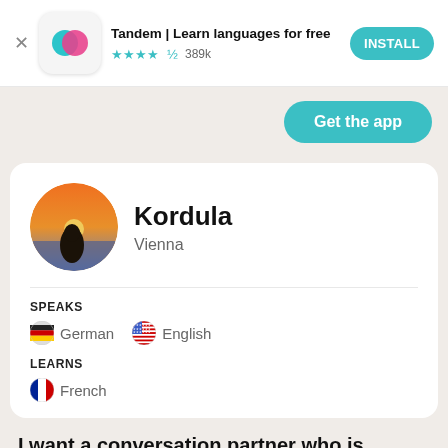[Figure (screenshot): Tandem app install banner with logo, star rating 389k, and INSTALL button]
[Figure (screenshot): Get the app teal button]
[Figure (screenshot): User profile card for Kordula from Vienna with sunset profile photo, speaks German and English, learns French]
I want a conversation partner who is